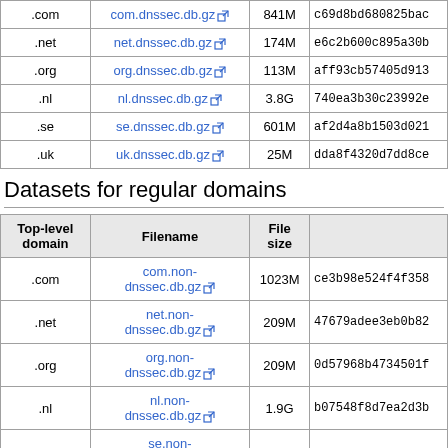| Top-level domain | Filename | File size |  |
| --- | --- | --- | --- |
| .com | com.dnssec.db.gz | 841M | c69d8bd680825bac |
| .net | net.dnssec.db.gz | 174M | e6c2b600c895a30b |
| .org | org.dnssec.db.gz | 113M | aff93cb57405d913 |
| .nl | nl.dnssec.db.gz | 3.8G | 740ea3b30c23992e |
| .se | se.dnssec.db.gz | 601M | af2d4a8b1503d021 |
| .uk | uk.dnssec.db.gz | 25M | dda8f4320d7dd8ce |
Datasets for regular domains
| Top-level domain | Filename | File size |  |
| --- | --- | --- | --- |
| .com | com.non-dnssec.db.gz | 1023M | ce3b98e524f4f358 |
| .net | net.non-dnssec.db.gz | 209M | 47679adee3eb0b82 |
| .org | org.non-dnssec.db.gz | 209M | 0d57968b4734501f |
| .nl | nl.non-dnssec.db.gz | 1.9G | b07548f8d7ea2d3b |
| .se | se.non-... |  |  |